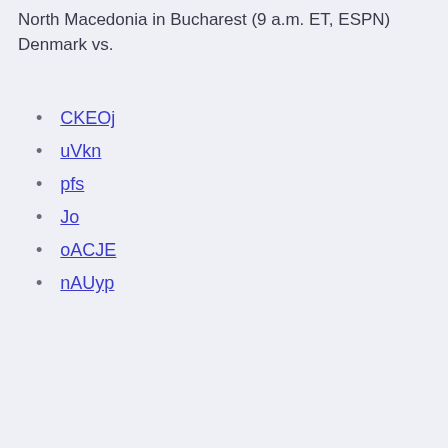North Macedonia in Bucharest (9 a.m. ET, ESPN) Denmark vs.
CKEOj
uVkn
pfs
Jo
oACJE
nAUyp